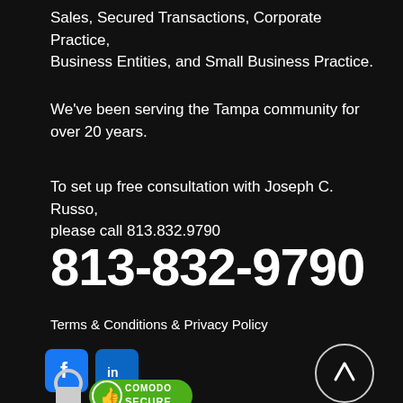Sales, Secured Transactions, Corporate Practice, Business Entities, and Small Business Practice.
We've been serving the Tampa community for over 20 years.
To set up free consultation with Joseph C. Russo, please call 813.832.9790
813-832-9790
Terms & Conditions & Privacy Policy
[Figure (logo): Facebook and LinkedIn social media icons]
[Figure (logo): Comodo Secure badge with padlock]
[Figure (other): Scroll-to-top button — circle with upward arrow]